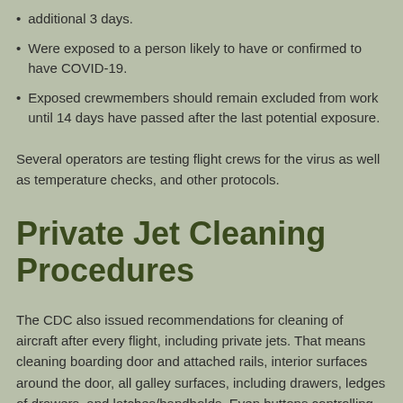additional 3 days.
Were exposed to a person likely to have or confirmed to have COVID-19.
Exposed crewmembers should remain excluded from work until 14 days have passed after the last potential exposure.
Several operators are testing flight crews for the virus as well as temperature checks, and other protocols.
Private Jet Cleaning Procedures
The CDC also issued recommendations for cleaning of aircraft after every flight, including private jets. That means cleaning boarding door and attached rails, interior surfaces around the door, all galley surfaces, including drawers, ledges of drawers, and latches/handholds. Even buttons controlling onboard AV